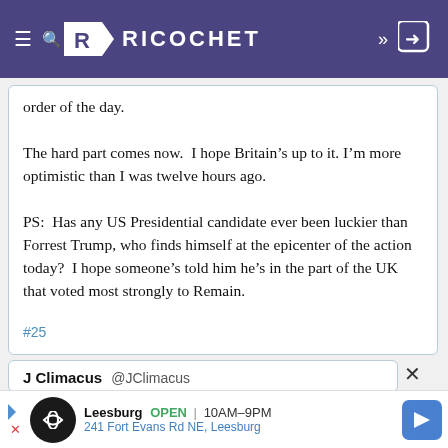RICOCHET
order of the day.

The hard part comes now. I hope Britain’s up to it. I’m more optimistic than I was twelve hours ago.

PS: Has any US Presidential candidate ever been luckier than Forrest Trump, who finds himself at the epicenter of the action today? I hope someone’s told him he’s in the part of the UK that voted most strongly to Remain.
#25
J Climacus @JClimacus
Leesburg OPEN | 10AM–9PM
241 Fort Evans Rd NE, Leesburg